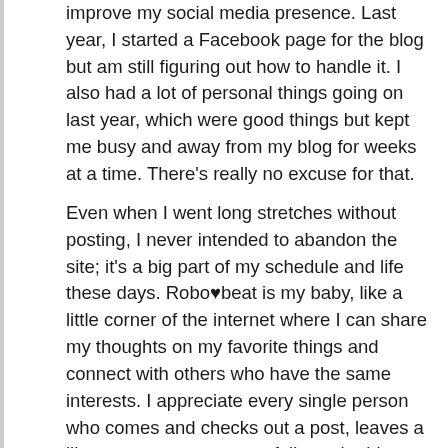improve my social media presence. Last year, I started a Facebook page for the blog but am still figuring out how to handle it. I also had a lot of personal things going on last year, which were good things but kept me busy and away from my blog for weeks at a time. There's really no excuse for that.
Even when I went long stretches without posting, I never intended to abandon the site; it's a big part of my schedule and life these days. Robo♥beat is my baby, like a little corner of the internet where I can share my thoughts on my favorite things and connect with others who have the same interests. I appreciate every single person who comes and checks out a post, leaves a like or comment, or even follows the blog. When I started it, I really didn't expect anyone to read it, so it's exciting to have met so many awesome bloggers and gamers through this experience.